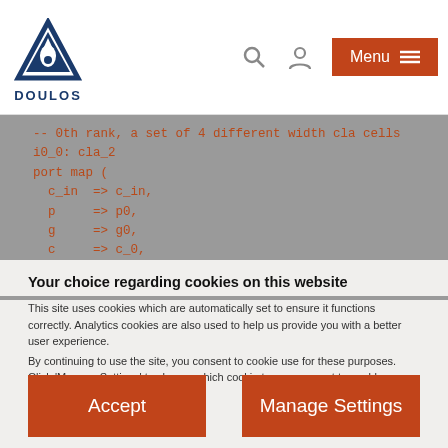Doulos - header navigation with logo, search, user, and menu
[Figure (screenshot): VHDL code snippet on grey background showing port map with c_in, p, g, c, p_out, g_out signals for cla_2 instance i0_0]
Your choice regarding cookies on this website
This site uses cookies which are automatically set to ensure it functions correctly. Analytics cookies are also used to help us provide you with a better user experience. By continuing to use the site, you consent to cookie use for these purposes. Click 'Manage Settings' to choose which cookie types you want to enable or disable. Full details are in our Cookie Policy.
Accept
Manage Settings